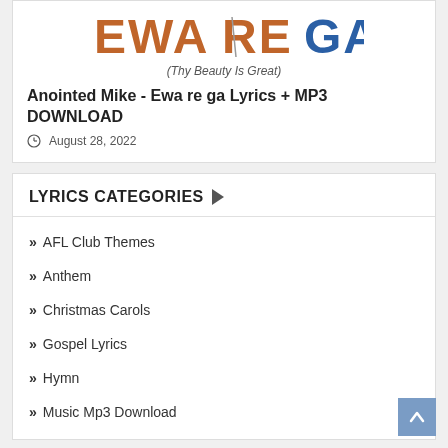[Figure (logo): Stylized text logo reading 'EWA RE GA' in orange/brown and blue colors]
(Thy Beauty Is Great)
Anointed Mike - Ewa re ga Lyrics + MP3 DOWNLOAD
August 28, 2022
LYRICS CATEGORIES
AFL Club Themes
Anthem
Christmas Carols
Gospel Lyrics
Hymn
Music Mp3 Download